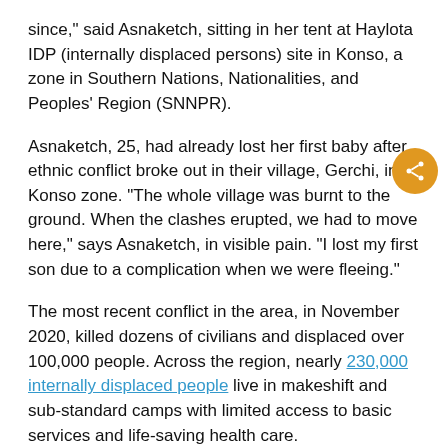since," said Asnaketch, sitting in her tent at Haylota IDP (internally displaced persons) site in Konso, a zone in Southern Nations, Nationalities, and Peoples' Region (SNNPR).
Asnaketch, 25, had already lost her first baby after ethnic conflict broke out in their village, Gerchi, in Konso zone. "The whole village was burnt to the ground. When the clashes erupted, we had to move here," says Asnaketch, in visible pain. "I lost my first son due to a complication when we were fleeing."
The most recent conflict in the area, in November 2020, killed dozens of civilians and displaced over 100,000 people. Across the region, nearly 230,000 internally displaced people live in makeshift and sub-standard camps with limited access to basic services and life-saving health care.